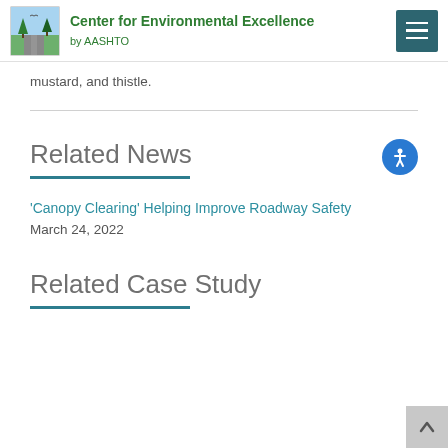Center for Environmental Excellence by AASHTO
mustard, and thistle.
Related News
'Canopy Clearing' Helping Improve Roadway Safety
March 24, 2022
Related Case Study